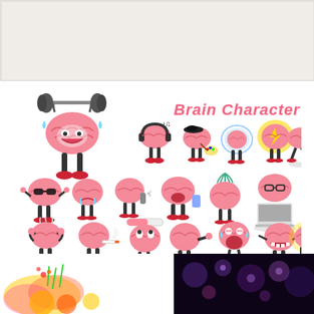[Figure (illustration): Top banner area with light beige/gray background, appears to be a blank preview or header area]
[Figure (illustration): Brain Character Set 2 - collection of cartoon brain characters with arms and legs in various poses and activities: weight lifting, listening to music with headphones, painting, wearing a helmet, lightning bolt energy, running, wearing sunglasses, crying/shouting, spraying, eating/drinking, next to a pineapple/melon, using a laptop with glasses, flexing, smoking, loading bar, fighting, yawning/exhausted, sweating, roaring, and golden brain. Title text reads 'Brain Character Set 2' in pink bubbly font.]
[Figure (illustration): Bottom left preview showing colorful fruit/food splash illustration with vibrant reds, yellows, greens on white background]
[Figure (illustration): Bottom right preview showing dark purple/black background with soft bokeh light effects]